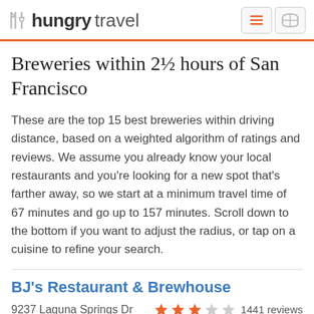hungrytravel
Breweries within 2½ hours of San Francisco
These are the top 15 best breweries within driving distance, based on a weighted algorithm of ratings and reviews. We assume you already know your local restaurants and you're looking for a new spot that's farther away, so we start at a minimum travel time of 67 minutes and go up to 157 minutes. Scroll down to the bottom if you want to adjust the radius, or tap on a cuisine to refine your search.
BJ's Restaurant & Brewhouse
9237 Laguna Springs Dr   1441 reviews